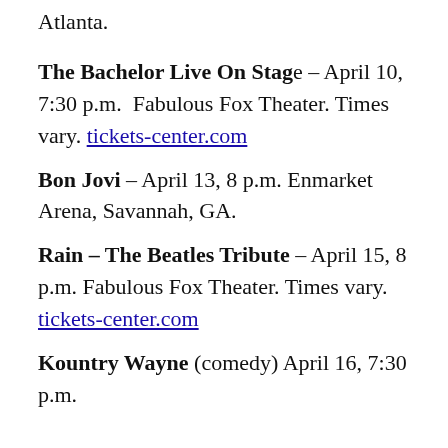Atlanta.
The Bachelor Live On Stage – April 10, 7:30 p.m.  Fabulous Fox Theater. Times vary. tickets-center.com
Bon Jovi – April 13, 8 p.m. Enmarket Arena, Savannah, GA.
Rain – The Beatles Tribute – April 15, 8 p.m. Fabulous Fox Theater. Times vary. tickets-center.com
Kountry Wayne (comedy) April 16, 7:30 p.m.